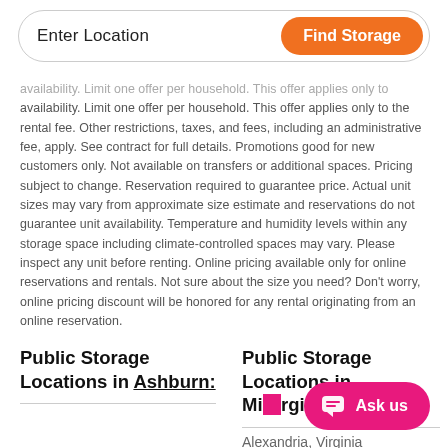[Figure (screenshot): Search bar with 'Enter Location' text input and orange 'Find Storage' button]
availability. Limit one offer per household. This offer applies only to the rental fee. Other restrictions, taxes, and fees, including an administrative fee, apply. See contract for full details. Promotions good for new customers only. Not available on transfers or additional spaces. Pricing subject to change. Reservation required to guarantee price. Actual unit sizes may vary from approximate size estimate and reservations do not guarantee unit availability. Temperature and humidity levels within any storage space including climate-controlled spaces may vary. Please inspect any unit before renting. Online pricing available only for online reservations and rentals. Not sure about the size you need? Don't worry, online pricing discount will be honored for any rental originating from an online reservation.
Public Storage Locations in Ashburn:
Public Storage Locations in Virginia:
Alexandria, Virginia